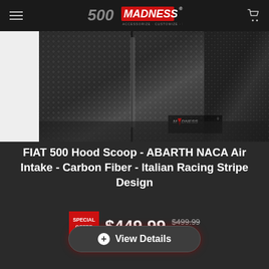500 MADNESS - ACCESSORIZE · CUSTOMIZE · PERSONALIZE
[Figure (photo): Close-up photo of carbon fiber hood scoop surface with MADNESS watermark logo in lower right corner]
FIAT 500 Hood Scoop - ABARTH NACA Air Intake - Carbon Fiber - Italian Racing Stripe Design
SPECIAL OFFER $449.99  $499.99 Save:
View Details